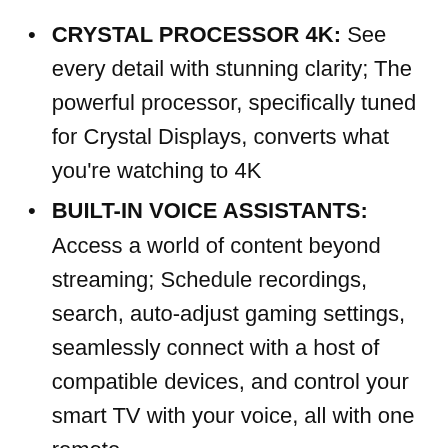CRYSTAL PROCESSOR 4K: See every detail with stunning clarity; The powerful processor, specifically tuned for Crystal Displays, converts what you're watching to 4K
BUILT-IN VOICE ASSISTANTS: Access a world of content beyond streaming; Schedule recordings, search, auto-adjust gaming settings, seamlessly connect with a host of compatible devices, and control your smart TV with your voice, all with one remote
HDR: Enjoy a whole new world of vivid color and detail found in newer films and streaming service content with